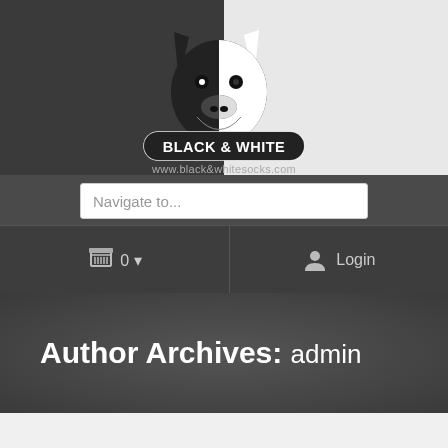[Figure (logo): Black & White socks company logo: stylized dog face split black and white, with text 'BLACK & WHITE' in bold and URL 'www.black&whitesocks.com' below]
Navigate to...
0 ▾
Login
Author Archives: admin